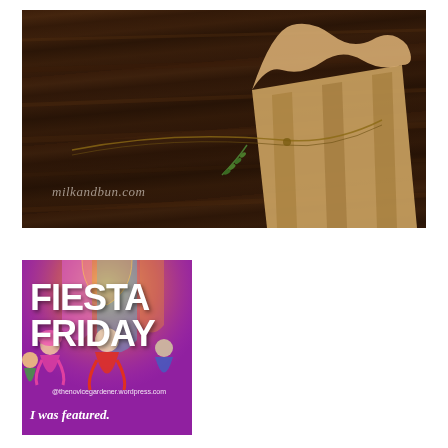[Figure (photo): A kraft paper wrapped package tied with twine, placed on a dark wooden surface. A sprig of rosemary is visible. Watermark reads milkandbun.com]
[Figure (illustration): Fiesta Friday badge/logo showing illustrated dancing figures on a colorful purple and pink background with text FIESTA FRIDAY, @thenovicegardener.wordpress.com, and I was featured.]